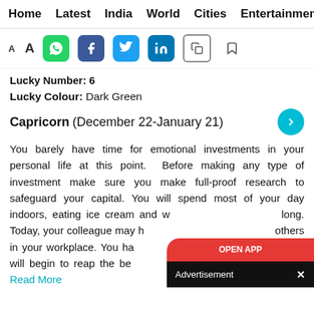Home  Latest  India  World  Cities  Entertainment
[Figure (screenshot): Social sharing toolbar with font size toggle (AA), WhatsApp, Facebook, Twitter, LinkedIn, copy, and bookmark icons]
Lucky Number: 6
Lucky Colour: Dark Green
Capricorn (December 22-January 21)
You barely have time for emotional investments in your personal life at this point.  Before making any type of investment make sure you make full-proof research to safeguard your capital. You will spend most of your day indoors, eating ice cream and watching Netflix all day long. Today, your colleague may have been talking bad about others in your workplace. You have been working very hard and you will begin to reap the benefits of your hard work very soon. Read More